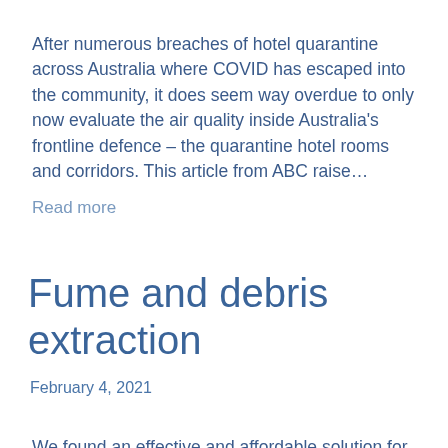After numerous breaches of hotel quarantine across Australia where COVID has escaped into the community, it does seem way overdue to only now evaluate the air quality inside Australia's frontline defence – the quarantine hotel rooms and corridors. This article from ABC raise…
Read more
Fume and debris extraction
February 4, 2021
We found an effective and affordable solution for